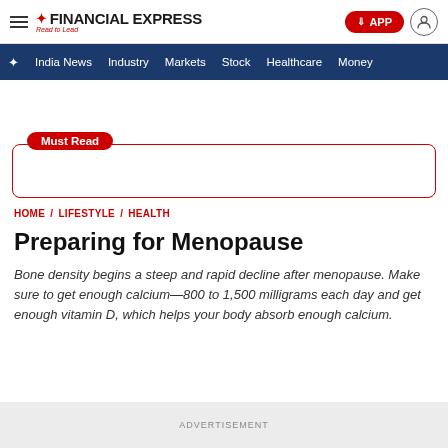FINANCIAL EXPRESS — Read to Lead
India News / Industry / Markets / Stock / Healthcare / Money
Must Read
HOME / LIFESTYLE / HEALTH
Preparing for Menopause
Bone density begins a steep and rapid decline after menopause. Make sure to get enough calcium—800 to 1,500 milligrams each day and get enough vitamin D, which helps your body absorb enough calcium.
ADVERTISEMENT